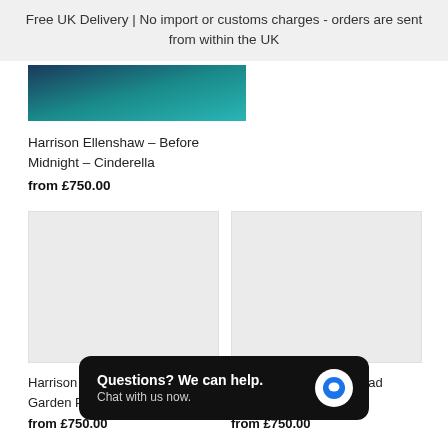Free UK Delivery | No import or customs charges - orders are sent from within the UK
[Figure (photo): Partial product image showing a dark teal/ocean scene, cropped at top]
Harrison Ellenshaw – Before Midnight – Cinderella
from £750.00
[Figure (photo): Light grey placeholder image for product]
[Figure (photo): Light grey placeholder image for product]
Harrison Ellenshaw – Pooh's Garden Party – W... Pooh
from £750.00
Harrison Ellenshaw – Mad ... Party – Alice in
from £750.00